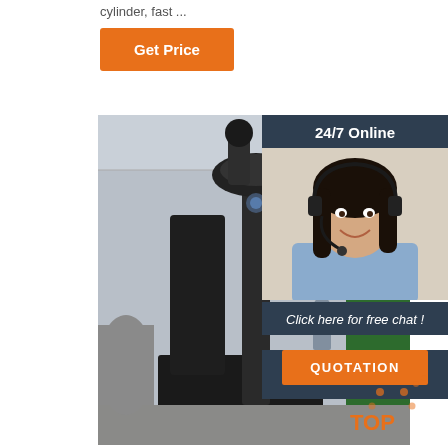cylinder, fast ...
Get Price
[Figure (photo): Industrial vertical honing/boring machine in a factory workshop setting, with black metal frame and mechanical components, green machinery visible in background.]
24/7 Online
[Figure (photo): Customer service agent, young woman with dark hair, smiling, wearing a telephone headset and blue shirt.]
Click here for free chat !
QUOTATION
[Figure (logo): TOP logo with orange dots/circles arranged in a triangle and orange text 'TOP']